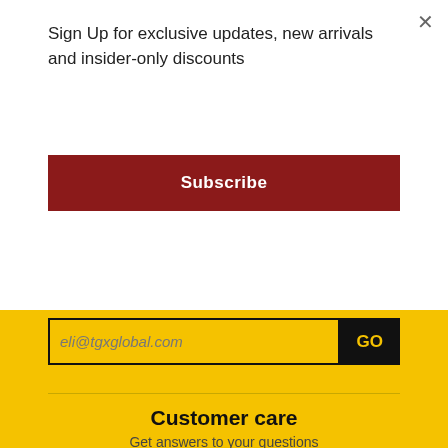Sign Up for exclusive updates, new arrivals and insider-only discounts
Subscribe
eli@tgxglobal.com
GO
Customer care
Get answers to your questions
Home
About Us
Fit & Size Guide
Return Policy
Shipping Policy
Contact Us